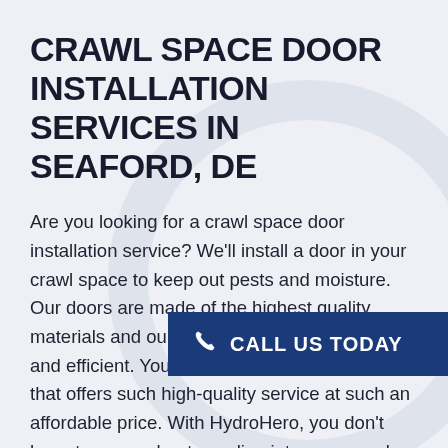CRAWL SPACE DOOR INSTALLATION SERVICES IN SEAFORD, DE
Are you looking for a crawl space door installation service? We'll install a door in your crawl space to keep out pests and moisture. Our doors are made of the highest quality materials and our installation process is quick and efficient. You won't find another company that offers such high-quality service at such an affordable price. With HydroHero, you don't have to worry about crawling into your crawl space ever again! Let us take care of it for you while you glass of wine (or wha We promise we will make this experience as painless as possible for you. And if something goes wrong
[Figure (other): Dark blue Call Us Today button with phone icon]